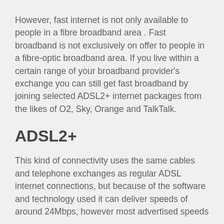However, fast internet is not only available to people in a fibre broadband area . Fast broadband is not exclusively on offer to people in a fibre-optic broadband area. If you live within a certain range of your broadband provider's exchange you can still get fast broadband by joining selected ADSL2+ internet packages from the likes of O2, Sky, Orange and TalkTalk.
ADSL2+
This kind of connectivity uses the same cables and telephone exchanges as regular ADSL internet connections, but because of the software and technology used it can deliver speeds of around 24Mbps, however most advertised speeds